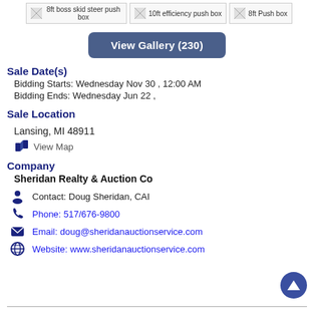[Figure (other): Three thumbnail images: '8ft boss skid steer push box', '10ft efficiency push box', '8ft Push box']
View Gallery (230)
Sale Date(s)
Bidding Starts: Wednesday Nov 30 , 12:00 AM
Bidding Ends: Wednesday Jun 22 ,
Sale Location
Lansing, MI 48911
View Map
Company
Sheridan Realty & Auction Co
Contact: Doug Sheridan, CAI
Phone: 517/676-9800
Email: doug@sheridanauctionservice.com
Website: www.sheridanauctionservice.com